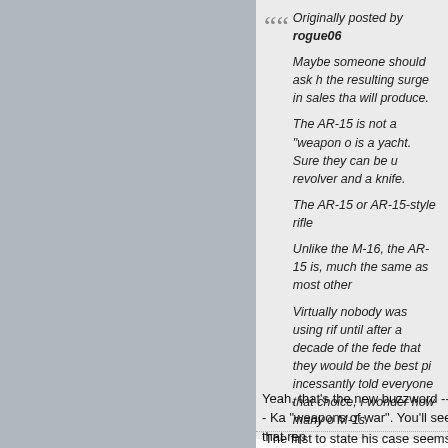[Figure (photo): Gray rectangular panel on the left side of the page]
Originally posted by rogue06
Maybe someone should ask h the resulting surge in sales tha will produce.

The AR-15 is not a "weapon o is a yacht. Sure they can be u revolver and a knife.

The AR-15 or AR-15-style rifle

Unlike the M-16, the AR-15 is, much the same as most other

Virtually nobody was using rifl until after a decade of the fede that they would be the best pi incessantly told everyone that choice, I wonder how many o M-1s.
Yeah, that's the new buzzword --- Ka "weapons of war". You'll see that rep
The first to state his case seems rig examine